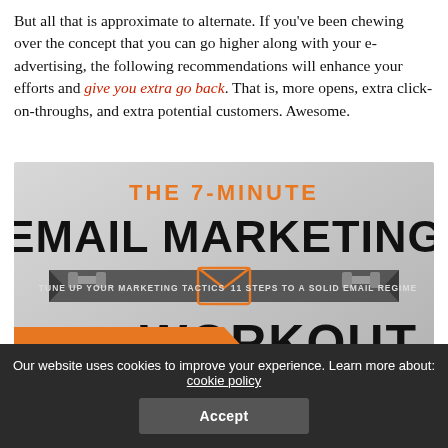But all that is approximate to alternate. If you've been chewing over the concept that you can go higher along with your e-advertising, the following recommendations will enhance your efforts and give you extra go back. That is, more opens, extra click-on-throughs, and extra potential customers. Awesome.
[Figure (infographic): Infographic titled 'The 7-Minute Email Marketing Workout' with subtitle text 'TUNE UP YOUR MARKETING TACTICS' and '11 STEPS TO A SOLID EMAIL REGIME', featuring an envelope icon with dumbbells, and a section label 'BASIC WORKOUT' on an orange banner.]
Our website uses cookies to improve your experience. Learn more about: cookie policy